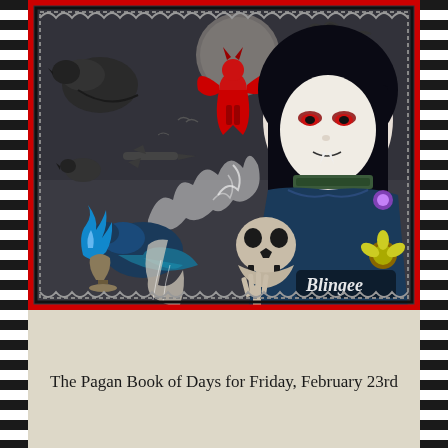[Figure (illustration): Gothic fantasy digital collage with a pale dark-haired vampire woman with red eyes, surrounded by ravens, a red demon figure flying, bats, a full moon, a skull, skeleton hands, ghostly white wispy forms, a blue flame, a chalice, and decorative red/black chain border with Blingee watermark]
The Pagan Book of Days for Friday, February 23rd